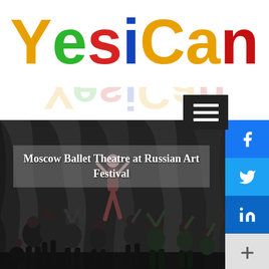[Figure (logo): YesiCan colorful logo with letters in yellow, green, red, blue, and orange colors, with a reflection below]
[Figure (photo): Moscow Ballet Theatre performers at Russian Art Festival — multiple dancers in black outfits with one central dancer lifted high, dark stage background with draped fabric]
Moscow Ballet Theatre at Russian Art Festival